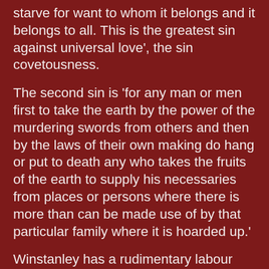starve for want to whom it belongs and it belongs to all. This is the greatest sin against universal love', the sin covetousness.
The second sin is 'for any man or men first to take the earth by the power of the murdering swords from others and then by the laws of their own making do hang or put to death any who takes the fruits of the earth to supply his necessaries from places or persons where there is more than can be made use of by that particular family where it is hoarded up.'
Winstanley has a rudimentary labour theory of value. 'No man can be rich but he must be rich either by his own labours or by the labours of other men helping him. If an man hath no help from his neighbours he should never gather an estate of hundreds and thousands a year. If other men help him to work then are those riches his neighbours' as well as his. And what rich men give, they give away other men's